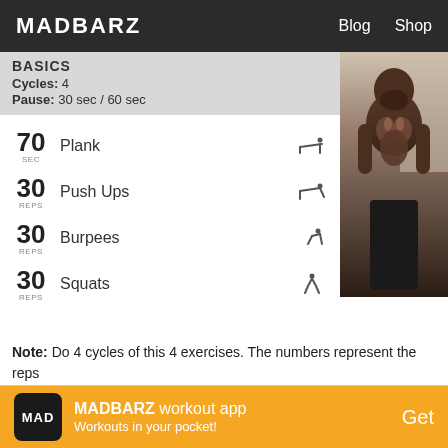MADBARZ | Blog | Shop
BASICS
Cycles: 4
Pause: 30 sec / 60 sec
70 sec - Plank
30 reps - Push Ups
30 reps - Burpees
30 reps - Squats
[Figure (photo): Shirtless muscular man posing for fitness photo]
Note: Do 4 cycles of this 4 exercises. The numbers represent the reps for each exercises per cycle.
MAD | MADBARZ workout app | Workouts in your pocket! | Get